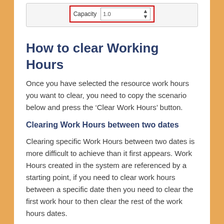[Figure (screenshot): UI widget showing a 'Capacity' field with value 1.0 and a spinner, outlined in a red rectangle]
How to clear Working Hours
Once you have selected the resource work hours you want to clear, you need to copy the scenario below and press the ‘Clear Work Hours’ button.
Clearing Work Hours between two dates
Clearing specific Work Hours between two dates is more difficult to achieve than it first appears. Work Hours created in the system are referenced by a starting point, if you need to clear work hours between a specific date then you need to clear the first work hour to then clear the rest of the work hours dates.